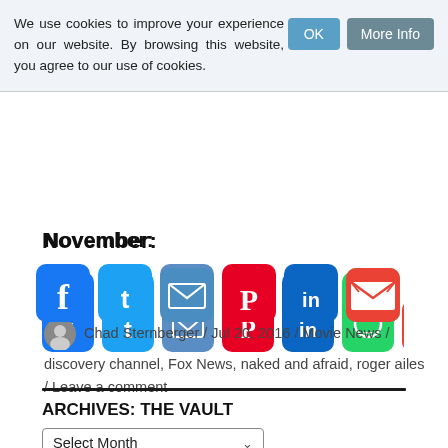We use cookies to improve your experience on our website. By browsing this website, you agree to our use of cookies.
November:
[Figure (infographic): Row of social media share buttons: Facebook, Twitter, Email, Pinterest, LinkedIn, WhatsApp, Gmail, Messenger, More]
Chad Sternberger / Jul 20, 2016 / Movie News / discovery channel, Fox News, naked and afraid, roger ailes / Leave a comment
ARCHIVES: THE VAULT
Select Month